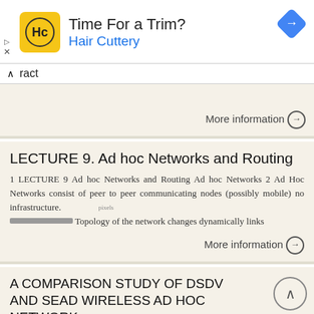[Figure (screenshot): Hair Cuttery advertisement banner with logo, text 'Time For a Trim? Hair Cuttery', and a navigation arrow icon]
ract
More information →
LECTURE 9. Ad hoc Networks and Routing
1 LECTURE 9 Ad hoc Networks and Routing Ad hoc Networks 2 Ad Hoc Networks consist of peer to peer communicating nodes (possibly mobile) no infrastructure. Topology of the network changes dynamically links
More information →
A COMPARISON STUDY OF DSDV AND SEAD WIRELESS AD HOC NETWORK